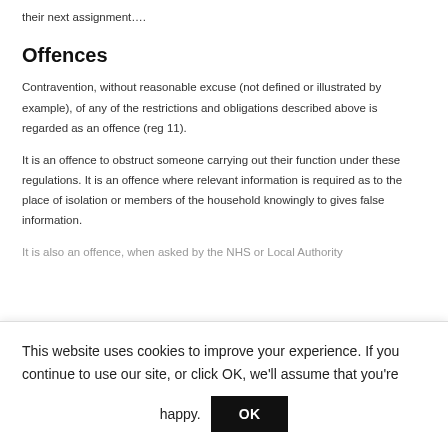their next assignment....
Offences
Contravention, without reasonable excuse (not defined or illustrated by example), of any of the restrictions and obligations described above is regarded as an offence (reg 11).
It is an offence to obstruct someone carrying out their function under these regulations. It is an offence where relevant information is required as to the place of isolation or members of the household knowingly to gives false information.
It is also an offence, when asked by the NHS or Local Authority
This website uses cookies to improve your experience. If you continue to use our site, or click OK, we'll assume that you're happy.